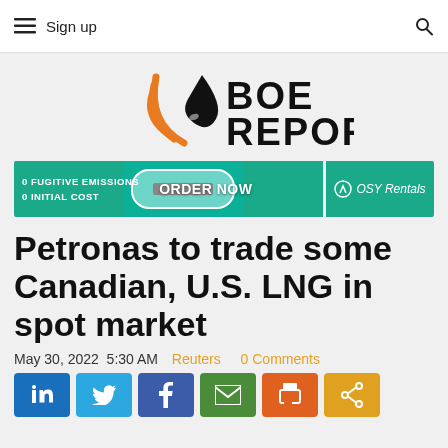≡ Sign up  🔍
[Figure (logo): BOE Report logo with orange droplet and signal waves icon]
[Figure (infographic): OSY Rentals ad banner: 0 FUGITIVE EMISSIONS 0 INITIAL COST - ORDER NOW]
Petronas to trade some Canadian, U.S. LNG in spot market
May 30, 2022  5:30 AM  Reuters  0 Comments
[Figure (infographic): Social share buttons: LinkedIn, Twitter, Facebook, Email, Print, Share]